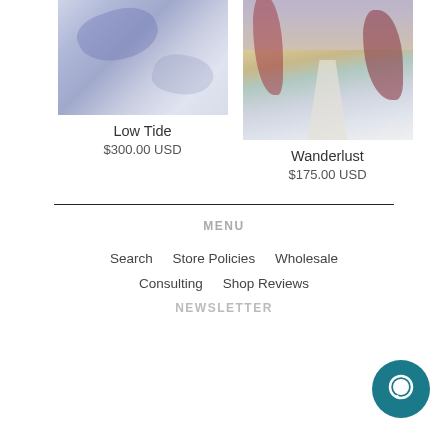[Figure (photo): Abstract watercolor painting in blue and lavender tones — Low Tide artwork]
Low Tide
$300.00 USD
[Figure (photo): Landscape painting with path, autumn trees in red and orange, wintry scene — Wanderlust artwork]
Wanderlust
$175.00 USD
MENU
Search   Store Policies   Wholesale
Consulting   Shop Reviews
NEWSLETTER